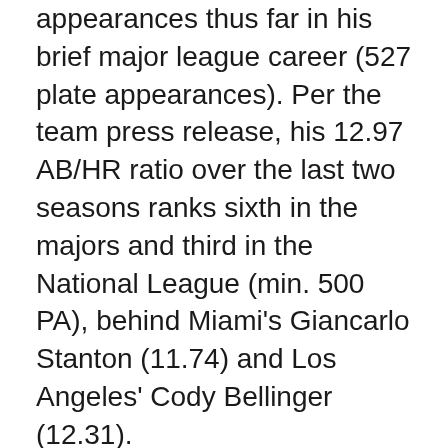appearances thus far in his brief major league career (527 plate appearances). Per the team press release, his 12.97 AB/HR ratio over the last two seasons ranks sixth in the majors and third in the National League (min. 500 PA), behind Miami's Giancarlo Stanton (11.74) and Los Angeles' Cody Bellinger (12.31).
A New Orleans native, Schimpf has spent the past two seasons with the San Diego Padres, but was originally drafted by the Toronto Blue Jays in the 5th round of the 2009 draft. The Padres picked him up when he became a minor league free agent following the 2015 season.
Schimpf began last season as the Padres starting third baseman and hit .158/.284/.424 (26-for-165) with 14 home runs and 25 RBI in 53 games (47 starts). Through the end of May, the left-handed batter led the